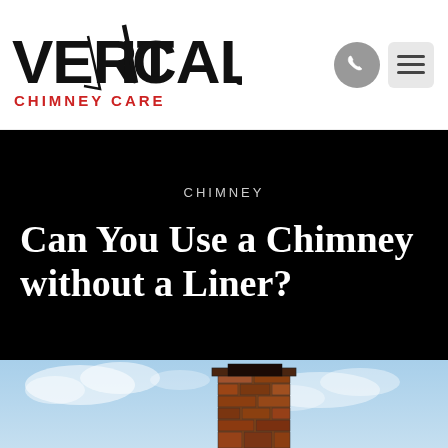[Figure (logo): Vertical Chimney Care logo with stylized text and red subtitle]
[Figure (infographic): Phone icon (grey circle with white phone) and hamburger menu icon (grey square with three lines)]
CHIMNEY
Can You Use a Chimney without a Liner?
[Figure (photo): Photo of a brick chimney against a blue sky with clouds]